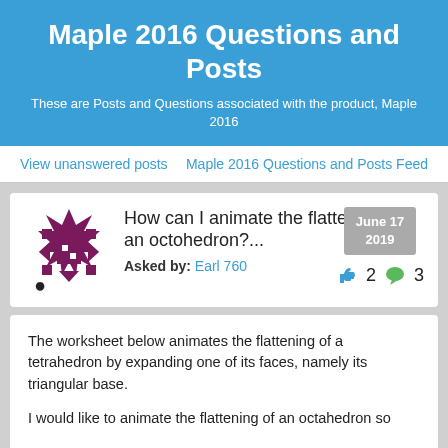Maple 2016 Questions and Posts
These are Posts and Questions associated with the product, Maple 2016
View unanswered posts
Maple 2016 Questions and Posts Feed
[Figure (logo): Maplesoft logo icon - dark red/purple geometric star pattern]
How can I animate the flattening of an octohedron?...
Asked by: Earl 760
June 17 2019
2 likes, 3 comments
The worksheet below animates the flattening of a tetrahedron by expanding one of its faces, namely its triangular base.
I would like to animate the flattening of an octahedron so